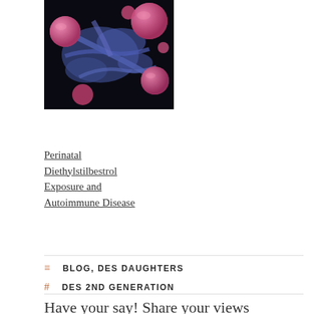[Figure (photo): Microscopy image showing cancer cells — pink/magenta spherical cells among blue elongated structures on a dark background, likely a scanning electron microscope false-color image.]
Perinatal Diethylstilbestrol Exposure and Autoimmune Disease
BLOG, DES DAUGHTERS
DES 2ND GENERATION
Have your say! Share your views
Enter your comment here...